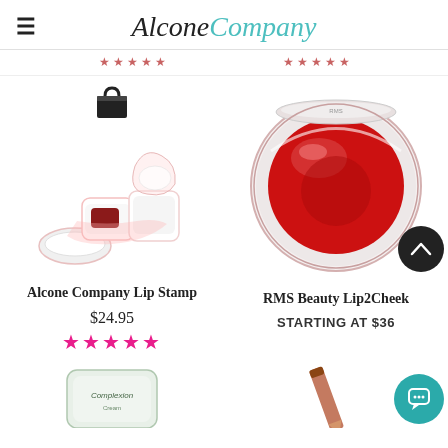AlconeCompany
[Figure (screenshot): Alcone Company Lip Stamp product image - white heart-shaped lip stamp containers open showing product]
[Figure (photo): RMS Beauty Lip2Cheek product - round clear glass jar with deep red cream product]
Alcone Company Lip Stamp
$24.95
★★★★★
RMS Beauty Lip2Cheek
STARTING AT $36
[Figure (photo): Partial view of a cosmetics compact/jar at bottom left]
[Figure (photo): Partial view of a lip liner pencil at bottom right]